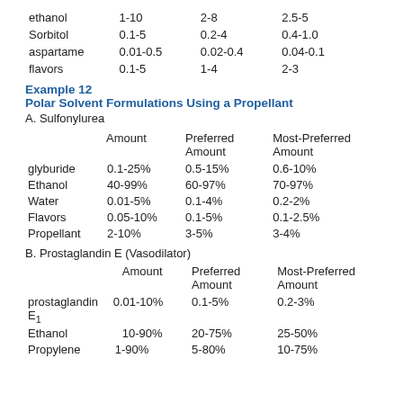|  | Amount | Preferred Amount | Most-Preferred Amount |
| --- | --- | --- | --- |
| ethanol | 1-10 | 2-8 | 2.5-5 |
| Sorbitol | 0.1-5 | 0.2-4 | 0.4-1.0 |
| aspartame | 0.01-0.5 | 0.02-0.4 | 0.04-0.1 |
| flavors | 0.1-5 | 1-4 | 2-3 |
Example 12
Polar Solvent Formulations Using a Propellant
A. Sulfonylurea
|  | Amount | Preferred Amount | Most-Preferred Amount |
| --- | --- | --- | --- |
| glyburide | 0.1-25% | 0.5-15% | 0.6-10% |
| Ethanol | 40-99% | 60-97% | 70-97% |
| Water | 0.01-5% | 0.1-4% | 0.2-2% |
| Flavors | 0.05-10% | 0.1-5% | 0.1-2.5% |
| Propellant | 2-10% | 3-5% | 3-4% |
B. Prostaglandin E (Vasodilator)
|  | Amount | Preferred Amount | Most-Preferred Amount |
| --- | --- | --- | --- |
| prostaglandin E1 | 0.01-10% | 0.1-5% | 0.2-3% |
| Ethanol | 10-90% | 20-75% | 25-50% |
| Propylene | 1-90% | 5-80% | 10-75% |